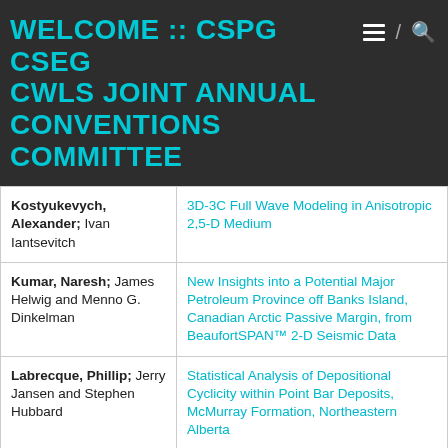WELCOME :: CSPG CSEG CWLS JOINT ANNUAL CONVENTIONS COMMITTEE
| Author | Title |
| --- | --- |
| Kostyukevych, Alexander; Ivan Iantsevitch | 3D-3C Full Wave Modeling in Anisotropic 2,5-D Medium |
| Kumar, Naresh; James Helwig and Menno G. Dinkelman | New Insights into a Potential Major Petroleum Province off Banks Island, Canadian Arctic Passive Margin, from BeaufortSPAN™ 2-D Seismic Data |
| Labrecque, Phillip; Jerry Jansen and Stephen Hubbard | Statistical Analysis of Depositional Cyclicity within Point Bar Deposits, McMurray Formation, Northeastern Alberta |
| Lafleur, Paul | The Elements of a Cost-Effective Geochemical Soil Gas Survey- |